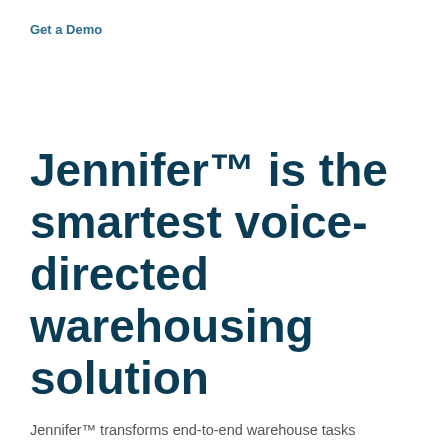Get a Demo
Jennifer™ is the smartest voice-directed warehousing solution
Jennifer™ transforms end-to-end warehouse tasks